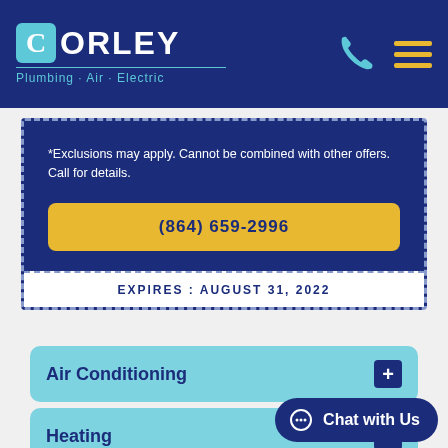[Figure (logo): Corley logo with teal C box, white ORLEY text, and tagline 'Plumbing · Air · Electric'. Phone icon and hamburger menu in dark navy header.]
*Exclusions may apply. Cannot be combined with other offers. Call for details.
(864) 659-2996
EXPIRES : AUGUST 31, 2022
Air Conditioning
Heating
Chat with Us